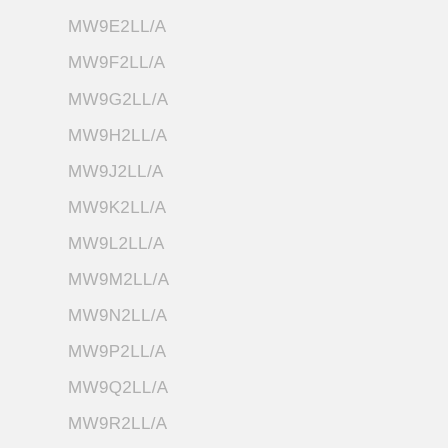MW9E2LL/A
MW9F2LL/A
MW9G2LL/A
MW9H2LL/A
MW9J2LL/A
MW9K2LL/A
MW9L2LL/A
MW9M2LL/A
MW9N2LL/A
MW9P2LL/A
MW9Q2LL/A
MW9R2LL/A